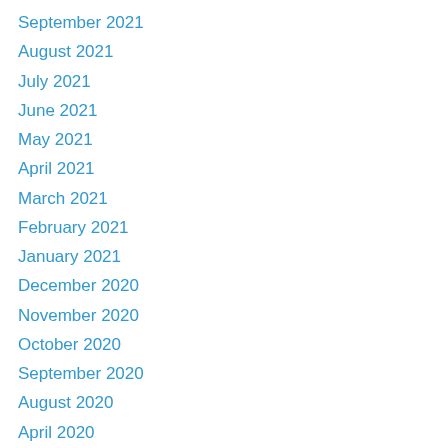September 2021
August 2021
July 2021
June 2021
May 2021
April 2021
March 2021
February 2021
January 2021
December 2020
November 2020
October 2020
September 2020
August 2020
April 2020
March 2020
February 2020
January 2020
December 2019
November 2019